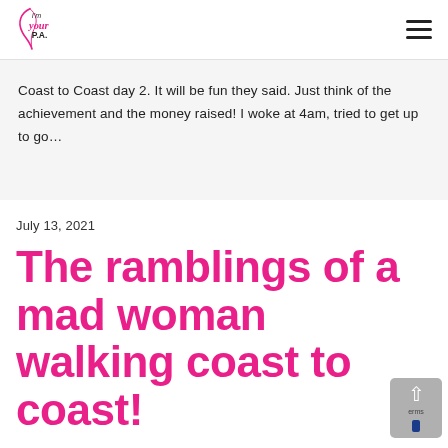I'm Your P.A.
Coast to Coast day 2. It will be fun they said. Just think of the achievement and the money raised! I woke at 4am, tried to get up to go…
July 13, 2021
The ramblings of a mad woman walking coast to coast!